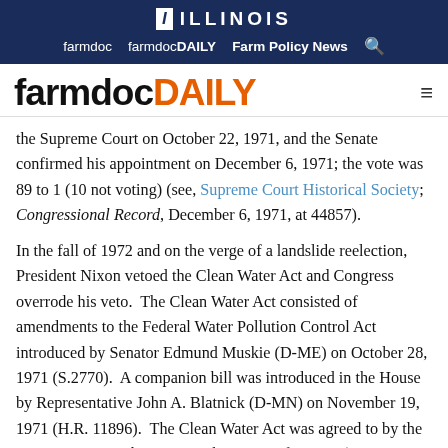ILLINOIS | farmdoc | farmdocDAILY | Farm Policy News
farmdocDAILY
the Supreme Court on October 22, 1971, and the Senate confirmed his appointment on December 6, 1971; the vote was 89 to 1 (10 not voting) (see, Supreme Court Historical Society; Congressional Record, December 6, 1971, at 44857).
In the fall of 1972 and on the verge of a landslide reelection, President Nixon vetoed the Clean Water Act and Congress overrode his veto. The Clean Water Act consisted of amendments to the Federal Water Pollution Control Act introduced by Senator Edmund Muskie (D-ME) on October 28, 1971 (S.2770). A companion bill was introduced in the House by Representative John A. Blatnick (D-MN) on November 19, 1971 (H.R. 11896). The Clean Water Act was agreed to by the Senate on November 2, 1971, by a vote of 86 to 0 (14 not voting) (see, Congressional Record, November 2, 1971, at